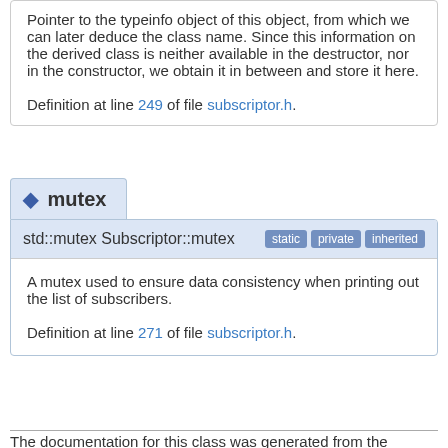Pointer to the typeinfo object of this object, from which we can later deduce the class name. Since this information on the derived class is neither available in the destructor, nor in the constructor, we obtain it in between and store it here.

Definition at line 249 of file subscriptor.h.
mutex
std::mutex Subscriptor::mutex [static] [private] [inherited]
A mutex used to ensure data consistency when printing out the list of subscribers.

Definition at line 271 of file subscriptor.h.
The documentation for this class was generated from the following files: